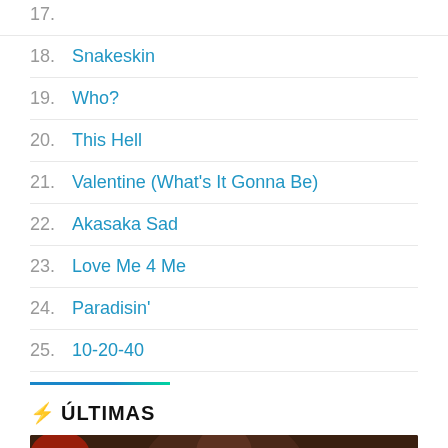18. Snakeskin
19. Who?
20. This Hell
21. Valentine (What's It Gonna Be)
22. Akasaka Sad
23. Love Me 4 Me
24. Paradisin'
25. 10-20-40
⚡ ÚLTIMAS
[Figure (photo): A dark-toned photo with a banner overlay reading 'O podcast que informa, descomplica e']